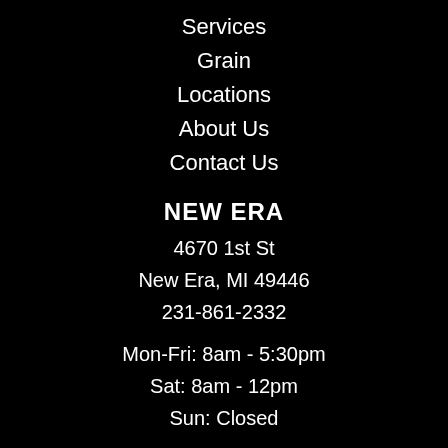Services
Grain
Locations
About Us
Contact Us
NEW ERA
4670 1st St
New Era, MI 49446
231-861-2332
Mon-Fri: 8am - 5:30pm
Sat: 8am - 12pm
Sun: Closed
MONTAGUE
8819 Ferry St